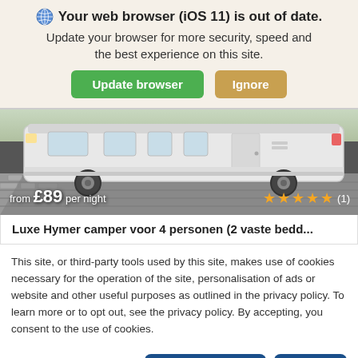Your web browser (iOS 11) is out of date. Update your browser for more security, speed and the best experience on this site.
[Figure (screenshot): Browser update banner with globe icon, bold warning title, subtitle text, and two buttons: green 'Update browser' and tan 'Ignore']
[Figure (photo): White Hymer motorhome/camper van parked on cobblestone pavement, shown from side profile. Overlay shows 'from £89 per night' on left and 5 gold stars with (1) review on right.]
Luxe Hymer camper voor 4 personen (2 vaste bedd...
This site, or third-party tools used by this site, makes use of cookies necessary for the operation of the site, personalisation of ads or website and other useful purposes as outlined in the privacy policy. To learn more or to opt out, see the privacy policy. By accepting, you consent to the use of cookies.
Privacy Policy
Manage My Cookies
Accept All